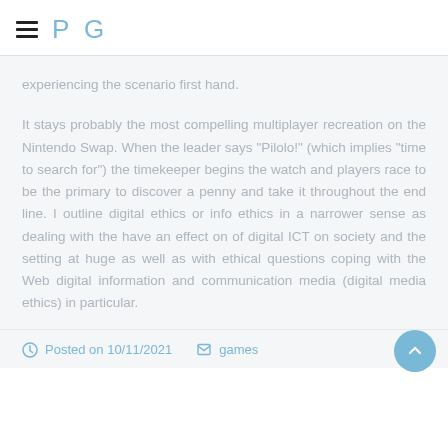P G
experiencing the scenario first hand.
It stays probably the most compelling multiplayer recreation on the Nintendo Swap. When the leader says "Pilolo!" (which implies "time to search for") the timekeeper begins the watch and players race to be the primary to discover a penny and take it throughout the end line. I outline digital ethics or info ethics in a narrower sense as dealing with the have an effect on of digital ICT on society and the setting at huge as well as with ethical questions coping with the Web digital information and communication media (digital media ethics) in particular.
Posted on 10/11/2021   games